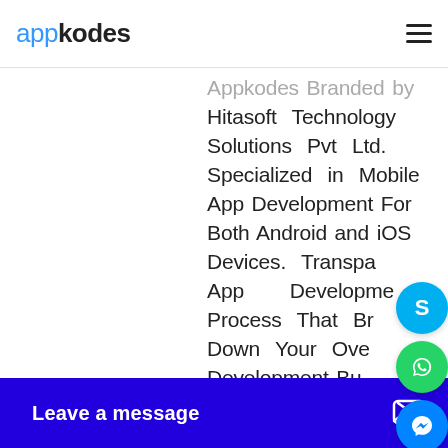appkodes
Appkodes Branded by Hitasoft Technology Solutions Pvt Ltd. Specialized in Mobile App Development For Both Android and iOS Devices. Transparent App Development Process That Breaks Down Your Overall Development Budget Without Compromising the
[Figure (screenshot): Social contact icons: Skype (blue), WhatsApp (green), Facebook Messenger (blue)]
Leave a message